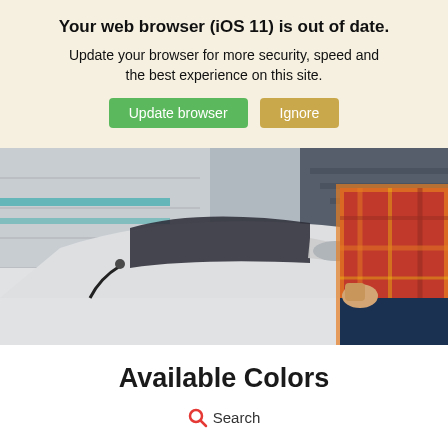Your web browser (iOS 11) is out of date.
Update your browser for more security, speed and the best experience on this site.
[Figure (photo): Person in red plaid shirt leaning on a white car, electric vehicle charging cable visible]
Available Colors
Search